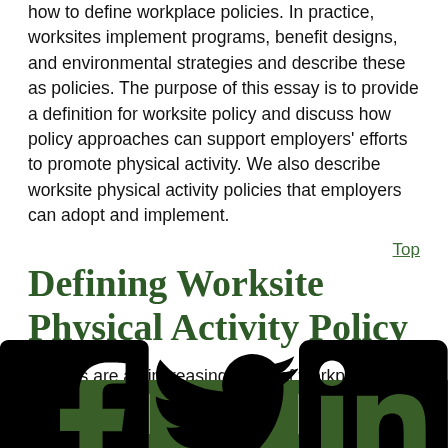how to define workplace policies. In practice, worksites implement programs, benefit designs, and environmental strategies and describe these as policies. The purpose of this essay is to provide a definition for worksite policy and discuss how policy approaches can support employers' efforts to promote physical activity. We also describe worksite physical activity policies that employers can adopt and implement.
Top
Defining Worksite Physical Activity Policy
Policies are an increasing focus of workplace wellness initiatives although they are poorly defined. Academic
[Facebook] [Twitter] [LinkedIn]